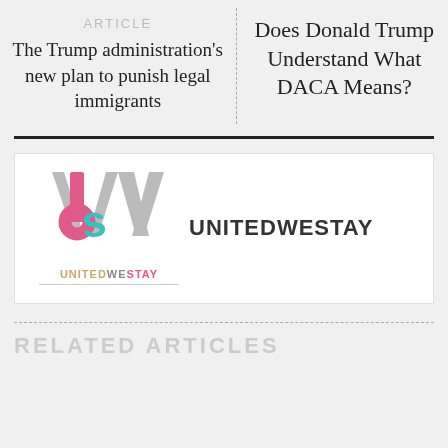ARTICLE
The Trump administration's new plan to punish legal immigrants
Does Donald Trump Understand What DACA Means?
[Figure (logo): UnitedWeStay logo with stylized W, U, S letters in gray, pink, and teal, with UNITEDWESTAY wordmark below]
UNITEDWESTAY
RELATED ARTICLES